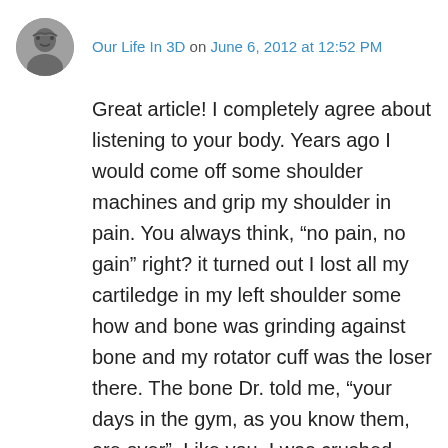Our Life In 3D on June 6, 2012 at 12:52 PM
Great article! I completely agree about listening to your body. Years ago I would come off some shoulder machines and grip my shoulder in pain. You always think, “no pain, no gain” right? it turned out I lost all my cartiledge in my left shoulder some how and bone was grinding against bone and my rotator cuff was the loser there. The bone Dr. told me, “your days in the gym, as you know them, are over”. Like you, I was crushed. Now I can’t even straighten that arm over my head. I ran into Cory Everson a few years back at a gym opening party and she insisted on the same thing, “Listen to your body”. Know the difference between discomfort and